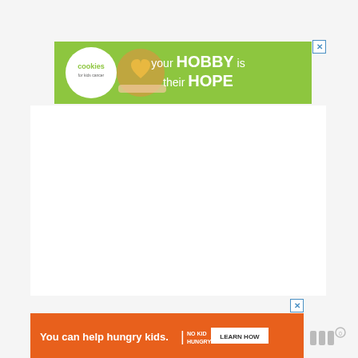[Figure (illustration): Top banner advertisement for Cookies for Kids Cancer: green background with white cookies logo circle on left, hands holding a heart-shaped cookie in center, and tagline 'your HOBBY is their HOPE' in white text on right. X close button in top right corner.]
[Figure (illustration): Bottom orange banner advertisement: 'You can help hungry kids.' text with No Kid Hungry fork logo and 'LEARN HOW' button. X close button above banner.]